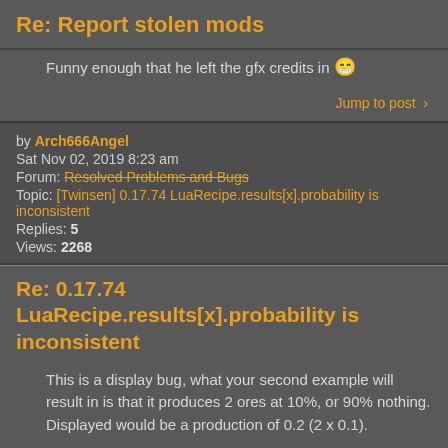Re: Report stolen mods
Funny enough that he left the gfx credits in 😁
Jump to post >
by Arch666Angel
Sat Nov 02, 2019 8:23 am
Forum: Resolved Problems and Bugs
Topic: [Twinsen] 0.17.74 LuaRecipe.results[x].probability is inconsistent
Replies: 5
Views: 2268
Re: 0.17.74 LuaRecipe.results[x].probability is inconsistent
This is a display bug, what your second example will result in is that it produces 2 ores at 10%, or 90% nothing. Displayed would be a production of 0.2 (2 x 0.1).
Jump to post >
by Arch666Angel
Wed Oct 30, 2019 7:38 pm
Forum: Modding interface requests
Topic: Bring back resource_prototype.autoplace_specification.coverage
Replies: 13
Views: 2251
Re: Bring back